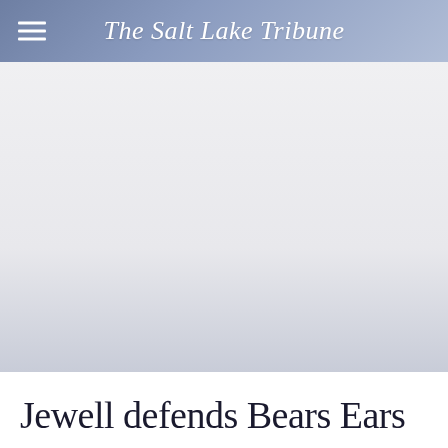The Salt Lake Tribune
[Figure (other): Advertisement or placeholder image area with light gray-blue gradient background]
Jewell defends Bears Ears